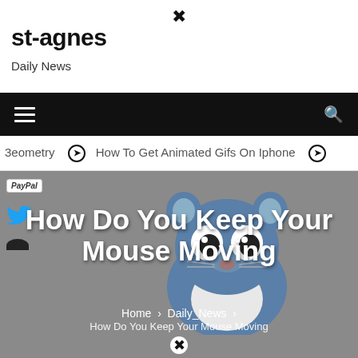st-agnes Daily News
How Do You Keep Your Mouse Moving
⊙ How To Get Animated Gifs On Iphone ⊙
[Figure (illustration): Cartoon mouse/hamster character with big round eyes, grey body with white belly, small ears and nose]
How Do You Keep Your Mouse Moving
Home > Daily_News > How Do You Keep Your Mouse Moving